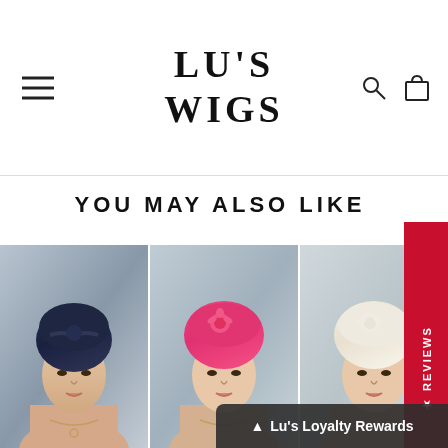LU'S WIGS
YOU MAY ALSO LIKE
[Figure (photo): Mannequin head wearing a navy blue turban-style head wrap]
[Figure (photo): Mannequin head wearing a hot pink turban-style head wrap with rose detail]
[Figure (photo): Mannequin head wearing a white/cream turban-style head wrap]
Lu's Loyalty Rewards